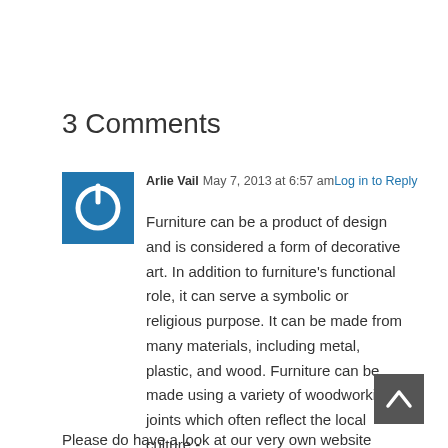3 Comments
Arlie Vail  May 7, 2013 at 6:57 am  Log in to Reply
[Figure (illustration): Blue square avatar icon with white power button symbol]
Furniture can be a product of design and is considered a form of decorative art. In addition to furniture’s functional role, it can serve a symbolic or religious purpose. It can be made from many materials, including metal, plastic, and wood. Furniture can be made using a variety of woodworking joints which often reflect the local culture.-.
[Figure (illustration): Dark grey back-to-top button with upward caret arrow]
Please do have a look at our very own website